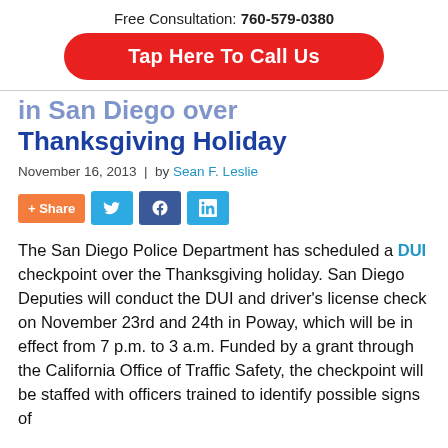Free Consultation: 760-579-0380
Tap Here To Call Us
in San Diego over Thanksgiving Holiday
November 16, 2013  |  by Sean F. Leslie
[Figure (other): Social share buttons: Share, Twitter, Facebook, LinkedIn]
The San Diego Police Department has scheduled a DUI checkpoint over the Thanksgiving holiday. San Diego Deputies will conduct the DUI and driver's license check on November 23rd and 24th in Poway, which will be in effect from 7 p.m. to 3 a.m. Funded by a grant through the California Office of Traffic Safety, the checkpoint will be staffed with officers trained to identify possible signs of